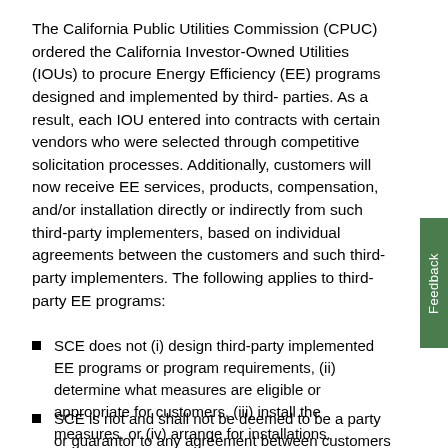The California Public Utilities Commission (CPUC) ordered the California Investor-Owned Utilities (IOUs) to procure Energy Efficiency (EE) programs designed and implemented by third- parties. As a result, each IOU entered into contracts with certain vendors who were selected through competitive solicitation processes. Additionally, customers will now receive EE services, products, compensation, and/or installation directly or indirectly from such third-party implementers, based on individual agreements between the customers and such third-party implementers. The following applies to third-party EE programs:
SCE does not (i) design third-party implemented EE programs or program requirements, (ii) determine what measures are eligible or appropriate for customers, (iii) install the measures, or (iv) arrange for installations.
SCE is not and shall not be deemed to be a party or guarantor to any agreement between customers and any third-party implementers. SCE has no control over...